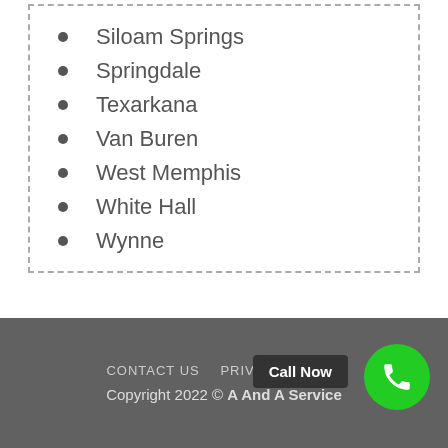Siloam Springs
Springdale
Texarkana
Van Buren
West Memphis
White Hall
Wynne
CONTACT US   PRIVACY POLICY
Copyright 2022 © A And A Service